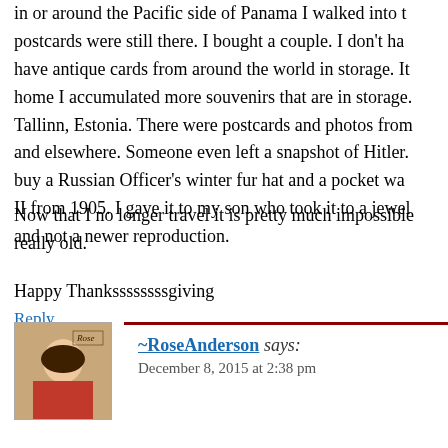in or around the Pacific side of Panama I walked into t... postcards were still there. I bought a couple. I don't ha... have antique cards from around the world in storage. It... home I accumulated more souvenirs that are in storage. Tallinn, Estonia. There were postcards and photos from... and elsewhere. Someone even left a snapshot of Hitler. buy a Russian Officer's winter fur hat and a pocket wa... II from 1905. I gave it to my son who took it to a jewel... and not a newer reproduction.
Now that I no longer travel it is pretty much impossible... really old.
Happy Thankssssssssgiving
Reply
[Figure (photo): Avatar image of RoseAnderson - a woman in a red dress]
~RoseAnderson says:
December 8, 2015 at 2:38 pm